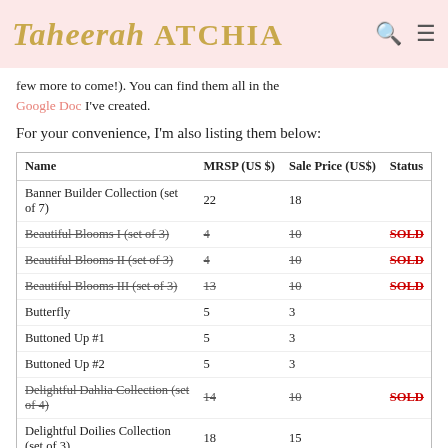Taheerah ATCHIA
few more to come!). You can find them all in the Google Doc I've created.
For your convenience, I'm also listing them below:
| Name | MRSP (US $) | Sale Price (US$) | Status |
| --- | --- | --- | --- |
| Banner Builder Collection (set of 7) | 22 | 18 |  |
| Beautiful Blooms I (set of 3) | 4 | 10 | SOLD |
| Beautiful Blooms II (set of 3) | 4 | 10 | SOLD |
| Beautiful Blooms III (set of 3) | 13 | 10 | SOLD |
| Butterfly | 5 | 3 |  |
| Buttoned Up #1 | 5 | 3 |  |
| Buttoned Up #2 | 5 | 3 |  |
| Delightful Dahlia Collection (set of 4) | 14 | 10 | SOLD |
| Delightful Doilies Collection (set of 3) | 18 | 15 |  |
| Embellishments | 8 | 5 |  |
| Enjoy The Ride | 5 | 3 |  |